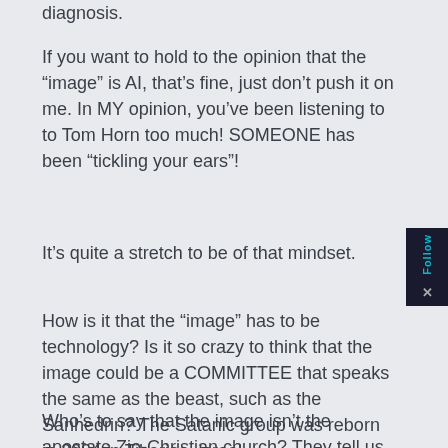diagnosis.
If you want to hold to the opinion that the “image” is AI, that’s fine, just don’t push it on me. In MY opinion, you’ve been listening to to Tom Horn too much! SOMEONE has been “tickling your ears”!
It’s quite a stretch to be of that mindset.
How is it that the “image” has to be technology? Is it so crazy to think that the image could be a COMMITTEE that speaks the same as the beast, such as the Sanhedrin? The Satanic group was reborn in 2004 in Tiberias, Israel.
Who’s to say that the image isn’t the apostate Zio-Christian church? They tell us